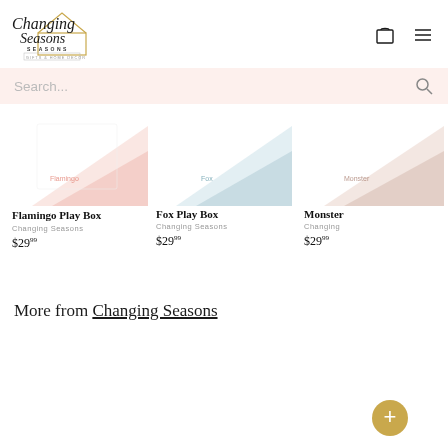[Figure (logo): Changing Seasons Gifts & Home Decor logo with script font and house outline in gold/tan]
[Figure (illustration): Shopping cart icon and hamburger menu icon]
Search...
[Figure (photo): Flamingo Play Box product image]
Flamingo Play Box
Changing Seasons
$29.99
[Figure (photo): Fox Play Box product image]
Fox Play Box
Changing Seasons
$29.99
[Figure (photo): Monster Play Box product image (partially visible)]
Monster
Changing
$29.99
More from Changing Seasons